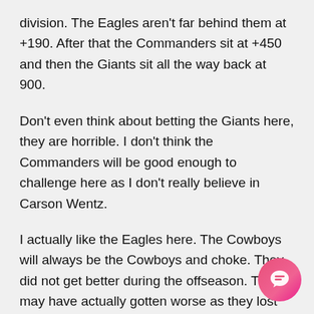division. The Eagles aren't far behind them at +190. After that the Commanders sit at +450 and then the Giants sit all the way back at 900.
Don't even think about betting the Giants here, they are horrible. I don't think the Commanders will be good enough to challenge here as I don't really believe in Carson Wentz.
I actually like the Eagles here. The Cowboys will always be the Cowboys and choke. They did not get better during the offseason. They may have actually gotten worse as they lost Amari Cooper and Lael Collins.
The Eagles got better. They made a surprising and huge draft day trade to acquire A.J. Brown from the Titans and have now surrounded QB Jalen Hurts with great talent in